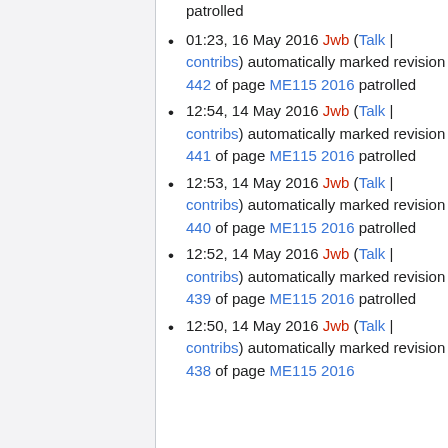patrolled
01:23, 16 May 2016 Jwb (Talk | contribs) automatically marked revision 442 of page ME115 2016 patrolled
12:54, 14 May 2016 Jwb (Talk | contribs) automatically marked revision 441 of page ME115 2016 patrolled
12:53, 14 May 2016 Jwb (Talk | contribs) automatically marked revision 440 of page ME115 2016 patrolled
12:52, 14 May 2016 Jwb (Talk | contribs) automatically marked revision 439 of page ME115 2016 patrolled
12:50, 14 May 2016 Jwb (Talk | contribs) automatically marked revision 438 of page ME115 2016